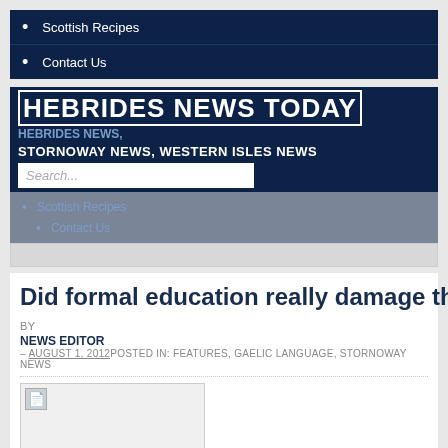Scottish Recipes
Contact Us
HEBRIDES NEWS TODAY HEBRIDES NEWS, STORNOWAY NEWS, WESTERN ISLES NEWS
Search...
Scottish Recipes
Contact Us
Did formal education really damage the Ga
BY
NEWS EDITOR
– AUGUST 1, 2012 POSTED IN: FEATURES, GAELIC LANGUAGE, STORNOWAY NEWS
[Figure (photo): Broken image placeholder in article]